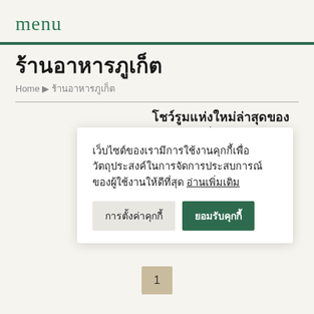menu
ร้านอาหารภูเก็ต
Home ▶ ร้านอาหารภูเก็ต
โชว์รูมแห่งใหม่ล่าสุดของ STARBARU ที่ ...
เว็บไซต์ของเรามีการใช้งานคุกกี้เพื่อวัตถุประสงค์ในการจัดการประสบการณ์ของผู้ใช้งานให้ดีที่สุด อ่านเพิ่มเติม
การตั้งค่าคุกกี้
ยอมรับคุกกี้
1